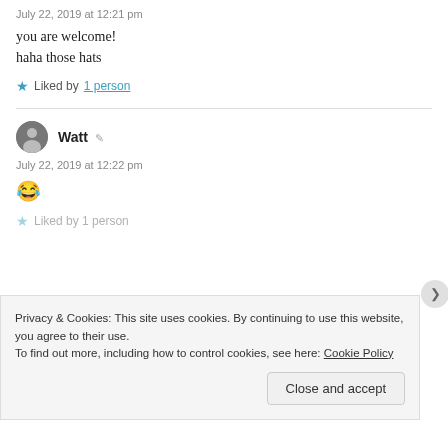July 22, 2019 at 12:21 pm
you are welcome!
haha those hats
★ Liked by 1 person
Watt
July 22, 2019 at 12:22 pm
😂
★ Liked by 1 person
Privacy & Cookies: This site uses cookies. By continuing to use this website, you agree to their use.
To find out more, including how to control cookies, see here: Cookie Policy
Close and accept